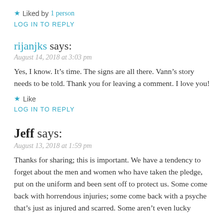★ Liked by 1 person
LOG IN TO REPLY
rijanjks says:
August 14, 2018 at 3:03 pm
Yes, I know. It's time. The signs are all there. Vann's story needs to be told. Thank you for leaving a comment. I love you!
★ Like
LOG IN TO REPLY
Jeff says:
August 13, 2018 at 1:59 pm
Thanks for sharing; this is important. We have a tendency to forget about the men and women who have taken the pledge, put on the uniform and been sent off to protect us. Some come back with horrendous injuries; some come back with a psyche that's just as injured and scarred. Some aren't even lucky